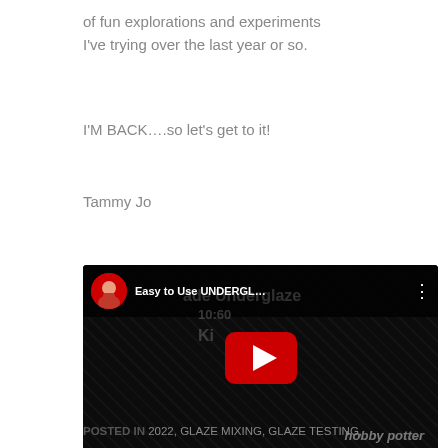of fun explorations and experiments I've trying over the last year or so.
I'M BACK….so let's get to it!
Tammy Jo
[Figure (screenshot): YouTube video thumbnail embed showing 'Easy to Use UNDERGL...' video with a red play button in the center, a circular avatar of a woman holding a mug, and 'hobby potter' text partially visible at the bottom right.]
POSTED IN 2022, GLAZE MIXING, GLAZE TESTING,